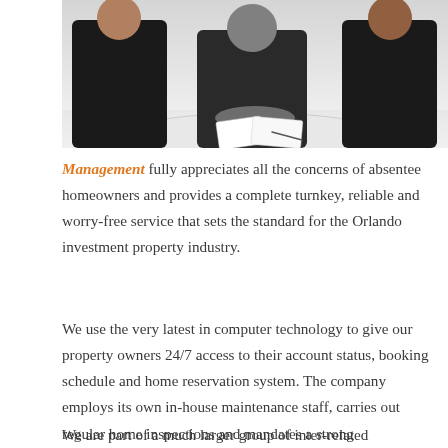[Figure (photo): Two people in dark clothing shaking hands across a white round table, viewed from above, with papers on the table.]
Management fully appreciates all the concerns of absentee homeowners and provides a complete turnkey, reliable and worry-free service that sets the standard for the Orlando investment property industry.
We use the very latest in computer technology to give our property owners 24/7 access to their account status, booking schedule and home reservation system. The company employs its own in-house maintenance staff, carries out regular home inspections and mandates a strong preventative maintenance schedule for all its property owners; thereby insuring that every property is maintained in pristine condition and ready for immediate occupancy.
We are part of a much larger group of inter-related companies that handles even more concerns …